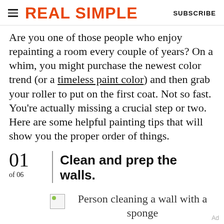REAL SIMPLE | SUBSCRIBE
Are you one of those people who enjoy repainting a room every couple of years? On a whim, you might purchase the newest color trend (or a timeless paint color) and then grab your roller to put on the first coat. Not so fast. You're actually missing a crucial step or two. Here are some helpful painting tips that will show you the proper order of things.
01 of 06 | Clean and prep the walls.
[Figure (photo): Person cleaning a wall with a sponge — placeholder image shown]
Person cleaning a wall with a sponge